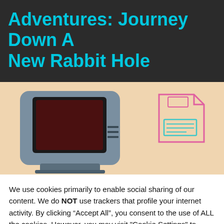Adventures: Journey Down A New Rabbit Hole
[Figure (illustration): Vintage computer monitor on a peach/beige background with a neon floppy disk icon outline on the right side]
We use cookies primarily to enable social sharing of our content. We do NOT use trackers that profile your internet activity. By clicking “Accept All”, you consent to the use of ALL the cookies. However, you may visit "Cookie Settings" to provide a controlled consent.
Cookie Settings | Accept All